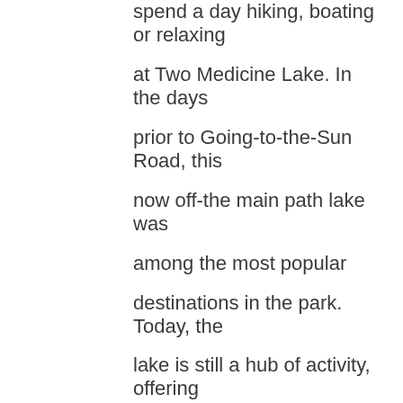spend a day hiking, boating or relaxing at Two Medicine Lake. In the days prior to Going-to-the-Sun Road, this now off-the main path lake was among the most popular destinations in the park. Today, the lake is still a hub of activity, offering hikes appropriate for all ages and abilities, boat tours of the lake, and lake front-relaxation.
Recommended time: Full day with drive Distance: 2-hour drive from